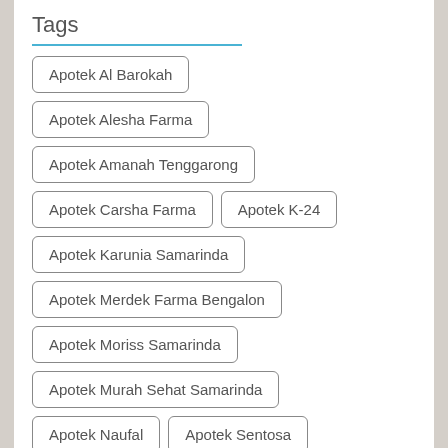Tags
Apotek Al Barokah
Apotek Alesha Farma
Apotek Amanah Tenggarong
Apotek Carsha Farma
Apotek K-24
Apotek Karunia Samarinda
Apotek Merdek Farma Bengalon
Apotek Moriss Samarinda
Apotek Murah Sehat Samarinda
Apotek Naufal
Apotek Sentosa